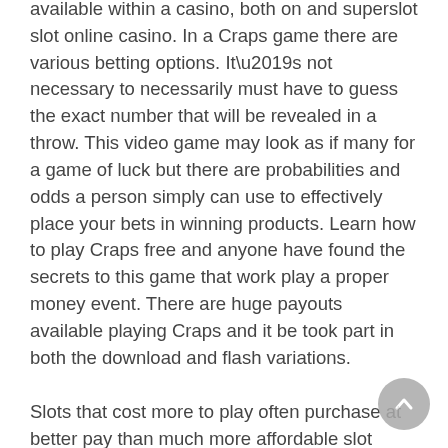available within a casino, both on and superslot slot online casino. In a Craps game there are various betting options. It’s not necessary to necessarily must have to guess the exact number that will be revealed in a throw. This video game may look as if many for a game of luck but there are probabilities and odds a person simply can use to effectively place your bets in winning products. Learn how to play Craps free and anyone have found the secrets to this game that work play a proper money event. There are huge payouts available playing Craps and it be took part in both the download and flash variations.
Slots that cost more to play often purchase at better pay than much more affordable slot